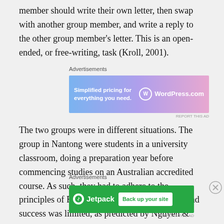member should write their own letter, then swap with another group member, and write a reply to the other group member's letter. This is an open-ended, or free-writing, task (Kroll, 2001).
[Figure (other): WordPress.com advertisement banner: 'Simplified pricing for everything you need.' with WordPress.com logo]
The two groups were in different situations. The group in Nantong were students in a university classroom, doing a preparation year before commencing studies on an Australian accredited course. As such, they had to adhere to the principles of EAP (Catterall & Ireland, 2010), and success was limited, as predicted by Nguyen & Miller
[Figure (other): Jetpack advertisement banner: 'Back up your site']